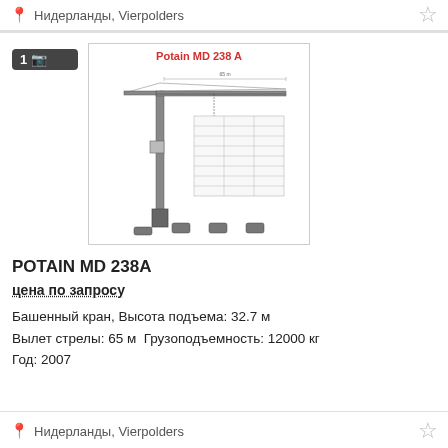Нидерланды, Vierpolders
[Figure (engineering-diagram): Technical schematic diagram of Potain MD 238 A tower crane showing side elevation with boom, mast, and load chart table]
POTAIN MD 238A
цена по запросу
Башенный кран, Высота подъема: 32.7 м
Вылет стрелы: 65 м  Грузоподъемность: 12000 кг
Год: 2007
Нидерланды, Vierpolders